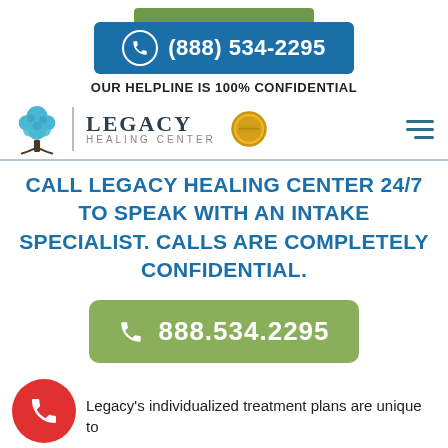(888) 534-2295
OUR HELPLINE IS 100% CONFIDENTIAL
[Figure (logo): Legacy Healing Center logo with tree icon and gold badge]
CALL LEGACY HEALING CENTER 24/7 TO SPEAK WITH AN INTAKE SPECIALIST. CALLS ARE COMPLETELY CONFIDENTIAL.
888.534.2295
Legacy's individualized treatment plans are unique to